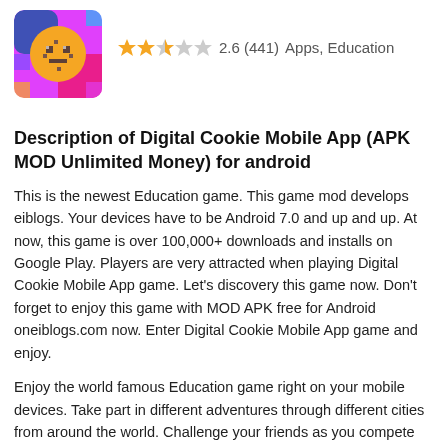[Figure (illustration): App icon showing a cookie-themed character with pixelated design on a colorful background (pink/purple/blue/orange)]
2.6 (441)  Apps, Education
Description of Digital Cookie Mobile App (APK MOD Unlimited Money) for android
This is the newest Education game. This game mod develops eiblogs. Your devices have to be Android 7.0 and up and up. At now, this game is over 100,000+ downloads and installs on Google Play. Players are very attracted when playing Digital Cookie Mobile App game. Let's discovery this game now. Don't forget to enjoy this game with MOD APK free for Android oneiblogs.com now. Enter Digital Cookie Mobile App game and enjoy.
Enjoy the world famous Education game right on your mobile devices. Take part in different adventures through different cities from around the world. Challenge your friends as you compete for the highest score in the game. Discover smooth and satisfying gameplay as you enjoy convenient features and controls. Find out all you need to know about this amazing game.